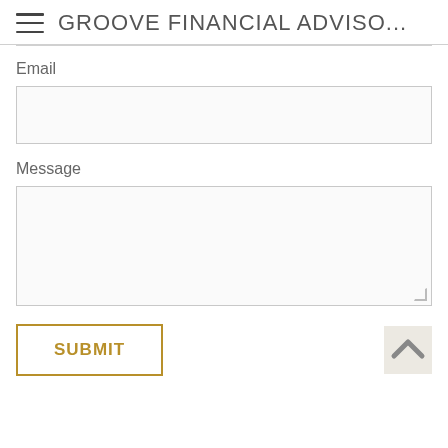GROOVE FINANCIAL ADVISO...
Email
Message
SUBMIT